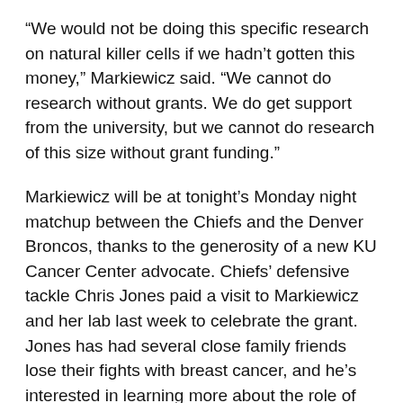“We would not be doing this specific research on natural killer cells if we hadn’t gotten this money,” Markiewicz said. “We cannot do research without grants. We do get support from the university, but we cannot do research of this size without grant funding.”
Markiewicz will be at tonight’s Monday night matchup between the Chiefs and the Denver Broncos, thanks to the generosity of a new KU Cancer Center advocate. Chiefs’ defensive tackle Chris Jones paid a visit to Markiewicz and her lab last week to celebrate the grant. Jones has had several close family friends lose their fights with breast cancer, and he’s interested in learning more about the role of cancer research.
“You know, you never really think about the people behind the job,” Jones said. “All you know is that people get cancer, and they do into a fund or try to fight it, but you really…”